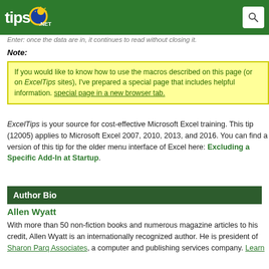tips.NET
Enter: once the data are in, it continues to read without closing it.
Note:
If you would like to know how to use the macros described on this page (or on ExcelTips sites), I've prepared a special page that includes helpful information. special page in a new browser tab.
ExcelTips is your source for cost-effective Microsoft Excel training. This tip (12005) applies to Microsoft Excel 2007, 2010, 2013, and 2016. You can find a version of this tip for the older menu interface of Excel here: Excluding a Specific Add-In at Startup.
Author Bio
Allen Wyatt
With more than 50 non-fiction books and numerous magazine articles to his credit, Allen Wyatt is an internationally recognized author. He is president of Sharon Parq Associates, a computer and publishing services company. Learn